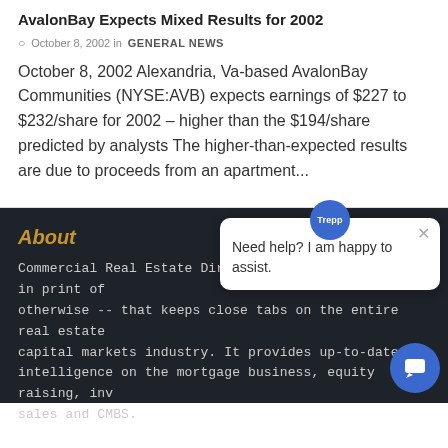AvalonBay Expects Mixed Results for 2002
October 8, 2002 in GENERAL NEWS
October 8, 2002 Alexandria, Va-based AvalonBay Communities (NYSE:AVB) expects earnings of $227 to $232/share for 2002 – higher than the $194/share predicted by analysts The higher-than-expected results are due to proceeds from an apartment...
About
Commercial Real Estate Direct is the only source -- in print of otherwise -- that keeps close tabs on the entire real estate capital markets industry. It provides up-to-date intelligence on the mortgage business, equity raising, investment sales and CMBS.